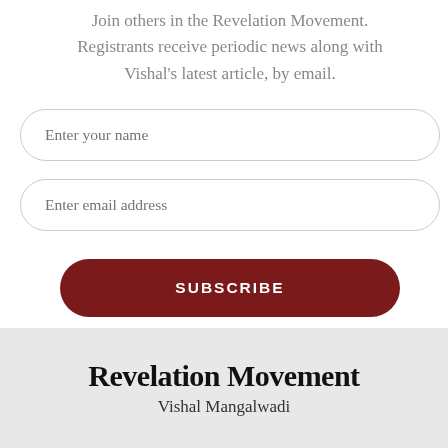Join others in the Revelation Movement. Registrants receive periodic news along with Vishal's latest article, by email.
[Figure (screenshot): Form field with placeholder text 'Enter your name']
[Figure (screenshot): Form field with placeholder text 'Enter email address']
[Figure (screenshot): Dark red rounded button with text 'SUBSCRIBE']
Revelation Movement
Vishal Mangalwadi